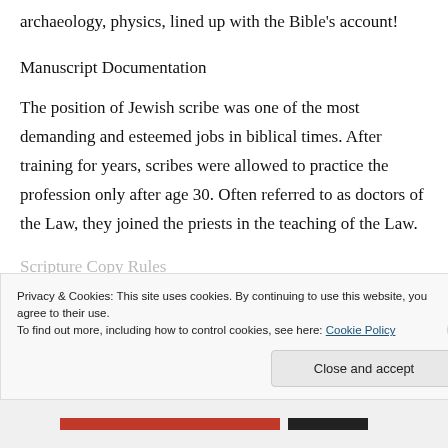archaeology, physics, lined up with the Bible's account!
Manuscript Documentation
The position of Jewish scribe was one of the most demanding and esteemed jobs in biblical times. After training for years, scribes were allowed to practice the profession only after age 30. Often referred to as doctors of the Law, they joined the priests in the teaching of the Law.
Scripture Copy Rules
Privacy & Cookies: This site uses cookies. By continuing to use this website, you agree to their use.
To find out more, including how to control cookies, see here: Cookie Policy